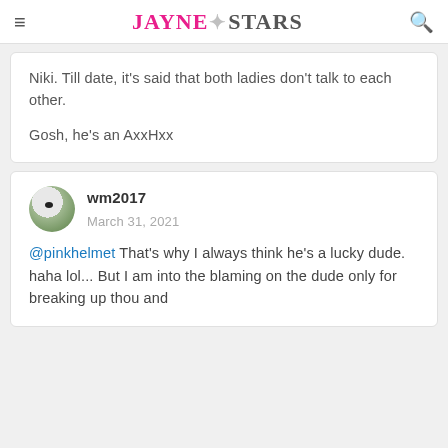JAYNE★STARS
Niki. Till date, it's said that both ladies don't talk to each other.

Gosh, he's an AxxHxx
wm2017
March 31, 2021
@pinkhelmet That's why I always think he's a lucky dude. haha lol... But I am into the blaming on the dude only for breaking up thou and